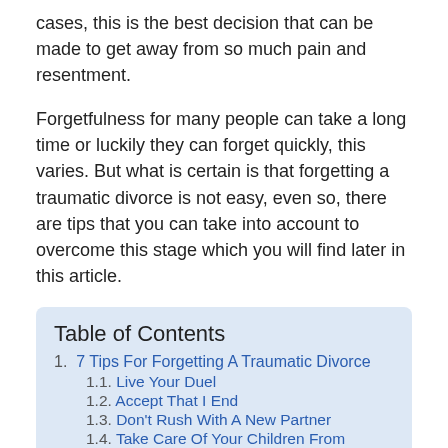cases, this is the best decision that can be made to get away from so much pain and resentment.
Forgetfulness for many people can take a long time or luckily they can forget quickly, this varies. But what is certain is that forgetting a traumatic divorce is not easy, even so, there are tips that you can take into account to overcome this stage which you will find later in this article.
Table of Contents
1. 7 Tips For Forgetting A Traumatic Divorce
1.1. Live Your Duel
1.2. Accept That I End
1.3. Don't Rush With A New Partner
1.4. Take Care Of Your Children From Problems
1.5. Enjoy Your Family And Friends